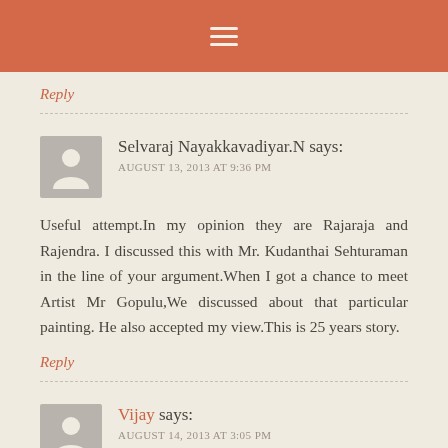≡
Reply
Selvaraj Nayakkavadiyar.N says:
AUGUST 13, 2013 AT 9:36 PM
Useful attempt.In my opinion they are Rajaraja and Rajendra. I discussed this with Mr. Kudanthai Sehturaman in the line of your argument.When I got a chance to meet Artist Mr Gopulu,We discussed about that particular painting. He also accepted my view.This is 25 years story.
Reply
Vijay says:
AUGUST 14, 2013 AT 3:05 PM